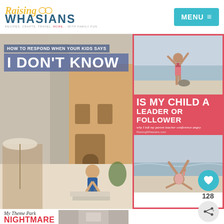[Figure (screenshot): Raising Whasians blog website screenshot showing logo, menu button, and blog post thumbnails]
Raising Whasians — RECIPES. CRAFTS. TRAVEL. MORE... WITH FAMILY FUN
[Figure (photo): Blog post image: HOW TO RESPOND WHEN YOUR KIDS SAYS I DON'T KNOW — photo of a child in an Italian piazza]
[Figure (photo): Blog post: IS MY CHILD A LEADER OR FOLLOWER — why I left my parent teacher conference angry — two beach photos of a child]
[Figure (photo): Blog post: My Theme Park NIGHTMARE — partially visible at bottom]